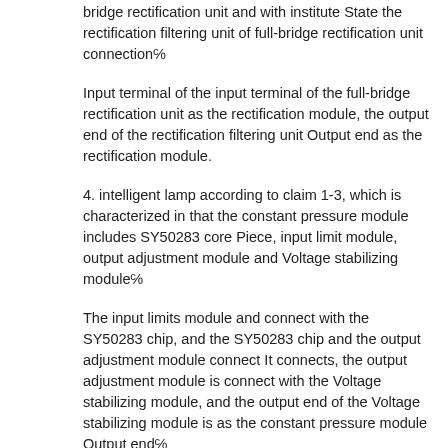bridge rectification unit and with institute State the rectification filtering unit of full-bridge rectification unit connection⑔
Input terminal of the input terminal of the full-bridge rectification unit as the rectification module, the output end of the rectification filtering unit Output end as the rectification module.
4. intelligent lamp according to claim 1-3, which is characterized in that the constant pressure module includes SY50283 core Piece, input limit module, output adjustment module and Voltage stabilizing module⑔
The input limits module and connect with the SY50283 chip, and the SY50283 chip and the output adjustment module connect It connects, the output adjustment module is connect with the Voltage stabilizing module, and the output end of the Voltage stabilizing module is as the constant pressure module Output end⑔
The input limits module for being adjusted to the first voltage, with the specified input with the SY50283 chip Match, the output adjustment module is used to the